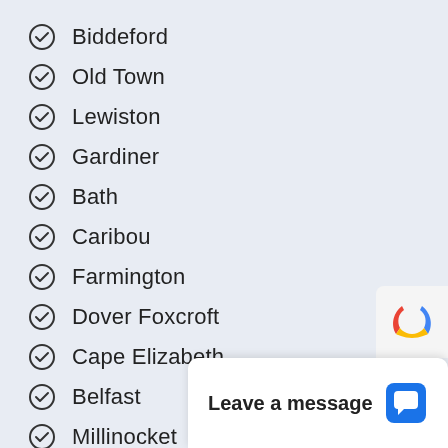Biddeford
Old Town
Lewiston
Gardiner
Bath
Caribou
Farmington
Dover Foxcroft
Cape Elizabeth
Belfast
Millinocket
Rumford (partially visible)
Leave a message